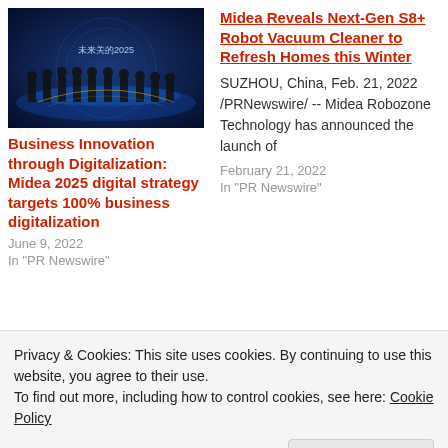[Figure (photo): Group of people on stage with blue digital background and text '未来关的2025']
Business Innovation through Digitalization: Midea 2025 digital strategy targets 100% business digitalization
June 9, 2022
In "PR Newswire"
Midea Reveals Next-Gen S8+ Robot Vacuum Cleaner to Refresh Homes this Winter
SUZHOU, China, Feb. 21, 2022 /PRNewswire/ -- Midea Robozone Technology has announced the launch of
February 21, 2022
In "PR Newswire"
[Figure (photo): Close-up dark image of a circular mechanical/robotic component]
Privacy & Cookies: This site uses cookies. By continuing to use this website, you agree to their use.
To find out more, including how to control cookies, see here: Cookie Policy
Close and accept
January 11, 2022